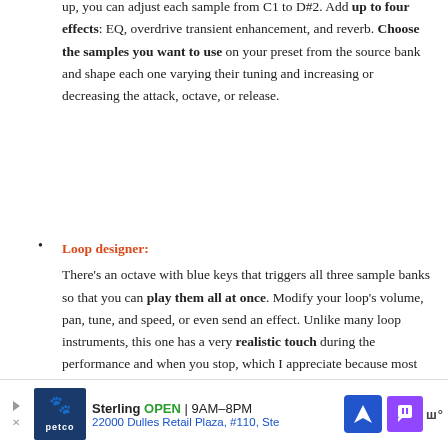up, you can adjust each sample from C1 to D#2. Add up to four effects: EQ, overdrive transient enhancement, and reverb. Choose the samples you want to use on your preset from the source bank and shape each one varying their tuning and increasing or decreasing the attack, octave, or release.
Loop designer: There's an octave with blue keys that triggers all three sample banks so that you can play them all at once. Modify your loop's volume, pan, tune, and speed, or even send an effect. Unlike many loop instruments, this one has a very realistic touch during the performance and when you stop, which I appreciate because most of the time, the sound suddenly cuts off once you release your finger from the keyboard. Damage 2 solves this by